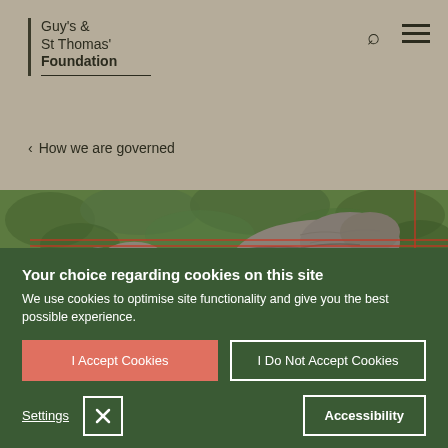Guy's & St Thomas' Foundation
< How we are governed
[Figure (photo): Stone sculpture of a bird or animal figure lying against green foliage background with red horizontal lines overlay]
Your choice regarding cookies on this site
We use cookies to optimise site functionality and give you the best possible experience.
I Accept Cookies
I Do Not Accept Cookies
Settings
Accessibility